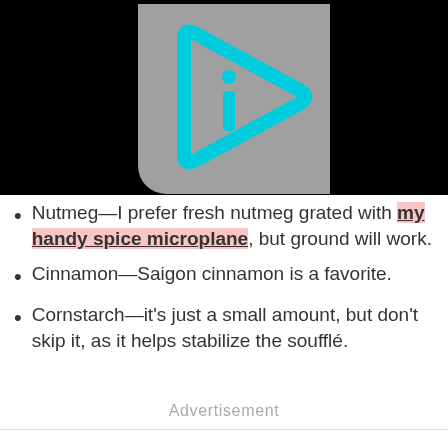[Figure (logo): Gray rounded rectangle with a cyan/turquoise 'i' play-button logo on black background]
Nutmeg—I prefer fresh nutmeg grated with my handy spice microplane, but ground will work.
Cinnamon—Saigon cinnamon is a favorite.
Cornstarch—it's just a small amount, but don't skip it, as it helps stabilize the soufflé.
Advertisement